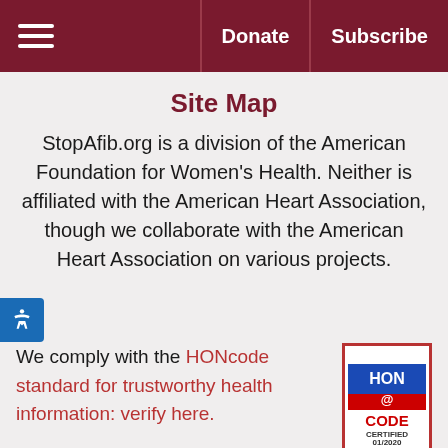≡  Donate  Subscribe
Site Map
StopAfib.org is a division of the American Foundation for Women's Health. Neither is affiliated with the American Heart Association, though we collaborate with the American Heart Association on various projects.
We comply with the HONcode standard for trustworthy health information: verify here.
[Figure (logo): HON CODE CERTIFIED 01/2020 badge with red border, blue and red HON @ CODE logo]